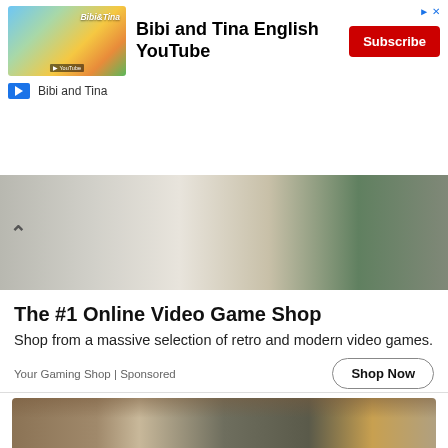[Figure (screenshot): Bibi and Tina English YouTube advertisement banner with channel thumbnail, title, and red Subscribe button]
[Figure (photo): Photo strip showing retro video game controllers and console (NES/Xbox style) with an up-arrow chevron on the left]
The #1 Online Video Game Shop
Shop from a massive selection of retro and modern video games.
Your Gaming Shop | Sponsored
[Figure (photo): Photograph of hydraulic jack equipment against a concrete wall in an excavated foundation area]